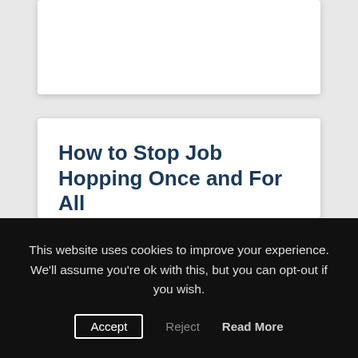How to Stop Job Hopping Once and For All
Jan, 2012 | Job Search
I've written in the past about the pros and cons of job hopping. Yes, it's true; you can spin it any way you want. But let's be
This website uses cookies to improve your experience. We'll assume you're ok with this, but you can opt-out if you wish.
Accept    Reject    Read More